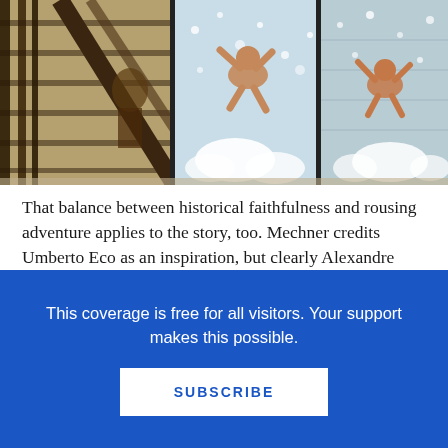[Figure (illustration): Comic book panels showing figures in sepia/tan tones. Left panel shows wooden stairs or structure. Middle panel shows a figure falling or diving with white cloud-like shapes. Right panel shows another figure in similar action with blue-tinted background.]
That balance between historical faithfulness and rousing adventure applies to the story, too. Mechner credits Umberto Eco as an inspiration, but clearly Alexandre Dumas is as well. And once the main characters realize that the Templar treasure hasn't yet been found by King Philip and is still hidden, waiting to be discovered and removed, the plot begins to incorporate elements of Indiana Jones and Ocean's Eleven as well.
This coverage is free for all visitors. Your support makes this possible.
SUBSCRIBE